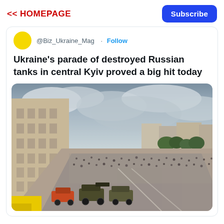<< HOMEPAGE
Subscribe
@Biz_Ukraine_Mag · Follow
Ukraine's parade of destroyed Russian tanks in central Kyiv proved a big hit today
[Figure (photo): Aerial view of a crowded central Kyiv boulevard with destroyed Russian military equipment on display, large historic buildings flanking the street, overcast sky with dramatic clouds, many people lining the streets.]